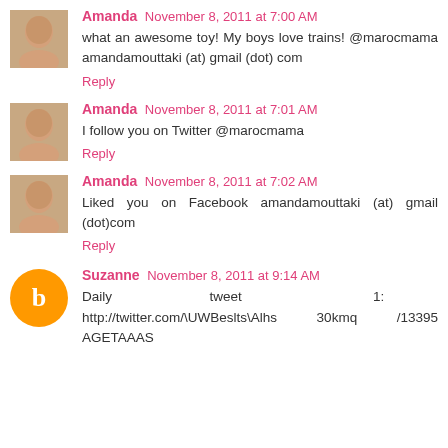Amanda November 8, 2011 at 7:00 AM
what an awesome toy! My boys love trains! @marocmama amandamouttaki (at) gmail (dot) com
Reply
Amanda November 8, 2011 at 7:01 AM
I follow you on Twitter @marocmama
Reply
Amanda November 8, 2011 at 7:02 AM
Liked you on Facebook amandamouttaki (at) gmail (dot)com
Reply
Suzanne November 8, 2011 at 9:14 AM
Daily tweet 1:
http://twitter.com/...